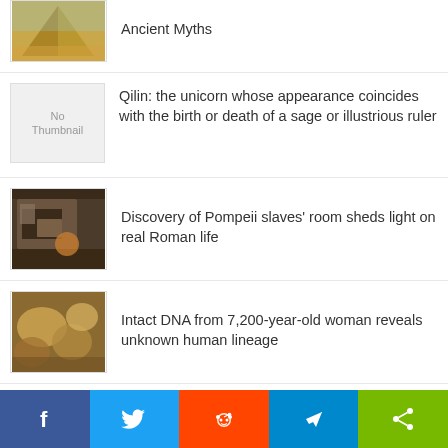Ancient Myths
Qilin: the unicorn whose appearance coincides with the birth or death of a sage or illustrious ruler
Discovery of Pompeii slaves' room sheds light on real Roman life
Intact DNA from 7,200-year-old woman reveals unknown human lineage
'Obsessed with Suicide' The Mysterious Side of Napoleon's Life